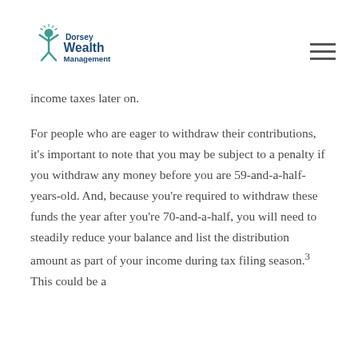Dorsey Wealth Management
income taxes later on.
For people who are eager to withdraw their contributions, it's important to note that you may be subject to a penalty if you withdraw any money before you are 59-and-a-half-years-old. And, because you're required to withdraw these funds the year after you're 70-and-a-half, you will need to steadily reduce your balance and list the distribution amount as part of your income during tax filing season.³ This could be a